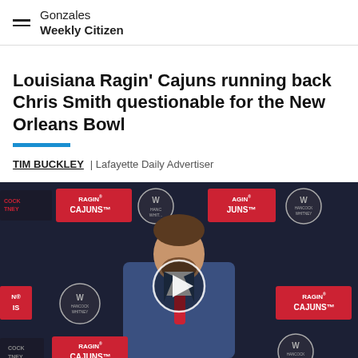Gonzales Weekly Citizen
Louisiana Ragin' Cajuns running back Chris Smith questionable for the New Orleans Bowl
TIM BUCKLEY | Lafayette Daily Advertiser
[Figure (photo): A man in a blue suit and red tie speaking at a podium in front of a Ragin' Cajuns / Hancock Whitney branded backdrop. A video play button overlay is centered on the image.]